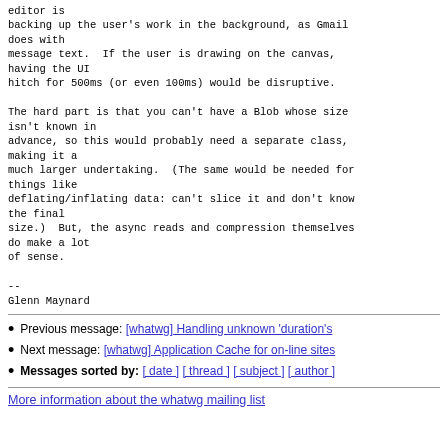editor is
backing up the user's work in the background, as Gmail
does with
message text.  If the user is drawing on the canvas,
having the UI
hitch for 500ms (or even 100ms) would be disruptive.

The hard part is that you can't have a Blob whose size
isn't known in
advance, so this would probably need a separate class,
making it a
much larger undertaking.  (The same would be needed for
things like
deflating/inflating data: can't slice it and don't know
the final
size.)  But, the async reads and compression themselves
do make a lot
of sense.

--
Glenn Maynard
Previous message: [whatwg] Handling unknown 'duration's
Next message: [whatwg] Application Cache for on-line sites
Messages sorted by: [ date ] [ thread ] [ subject ] [ author ]
More information about the whatwg mailing list